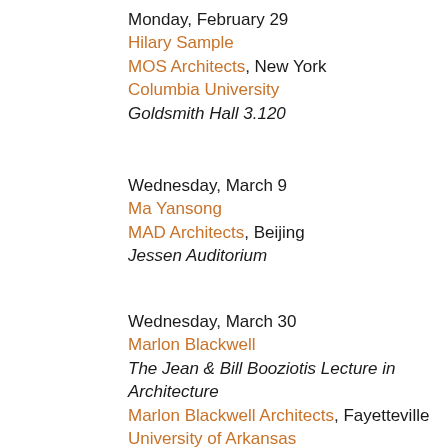Monday, February 29
Hilary Sample
MOS Architects, New York
Columbia University
Goldsmith Hall 3.120
Wednesday, March 9
Ma Yansong
MAD Architects, Beijing
Jessen Auditorium
Wednesday, March 30
Marlon Blackwell
The Jean & Bill Booziotis Lecture in Architecture
Marlon Blackwell Architects, Fayetteville
University of Arkansas
Jessen Auditorium